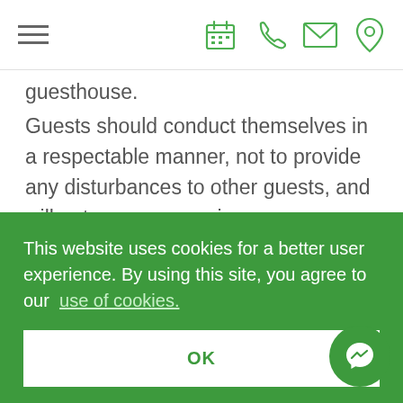Navigation bar with hamburger menu and icons: calendar, phone, email, location
guesthouse.
Guests should conduct themselves in a respectable manner, not to provide any disturbances to other guests, and will not cause any nuisance or annoyance within Vila Lipa's premises.
This website uses cookies for a better user experience. By using this site, you agree to our use of cookies.
OK